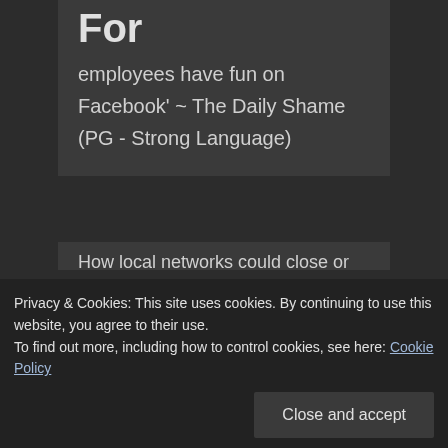employees have fun on Facebook' ~ The Daily Shame (PG - Strong Language)
RECENT POSTS
Response to 'Shaping Future Support' by Mo Stewart
Privacy & Cookies: This site uses cookies. By continuing to use this website, you agree to their use.
To find out more, including how to control cookies, see here: Cookie Policy
Close and accept
How local networks could close or latest